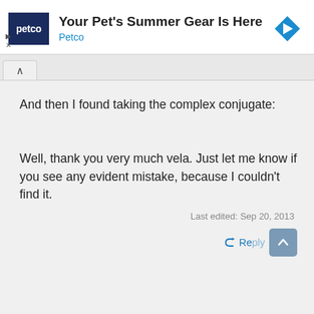[Figure (screenshot): Petco advertisement banner with dark blue Petco logo, text 'Your Pet's Summer Gear Is Here' and 'Petco' in blue, with a blue diamond navigation icon on the right. Small play and X controls on the lower left.]
And then I found taking the complex conjugate:
Well, thank you very much vela. Just let me know if you see any evident mistake, because I couldn't find it.
Last edited: Sep 20, 2013
[Figure (screenshot): Reply button with reply arrow icon and 'Reply' text, and a scroll-to-top button with upward arrow icon, both in blue/grey tones.]